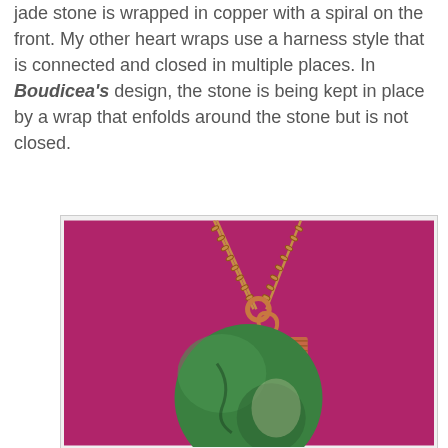jade stone is wrapped in copper with a spiral on the front. My other heart wraps use a harness style that is connected and closed in multiple places. In Boudicea's design, the stone is being kept in place by a wrap that enfolds around the stone but is not closed.
[Figure (photo): A green jade heart-shaped stone wrapped in copper wire with a spiral decoration on top, hanging from a gold chain against a pink/magenta background.]